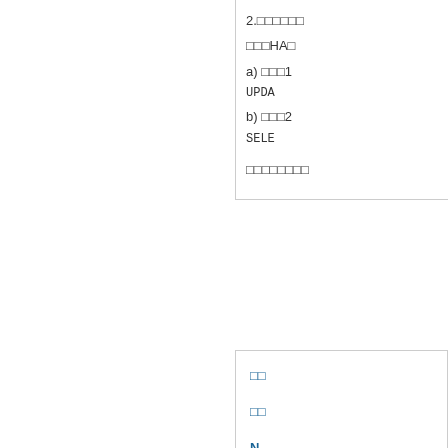2.□□□□□□ □□□HA□ a) □□□1 UPDA b) □□□2 SELE □□□□□□□□
yejr □□, 2008/07/20 - 11:39 Permalink
□□ □□ N
macaujohn2000